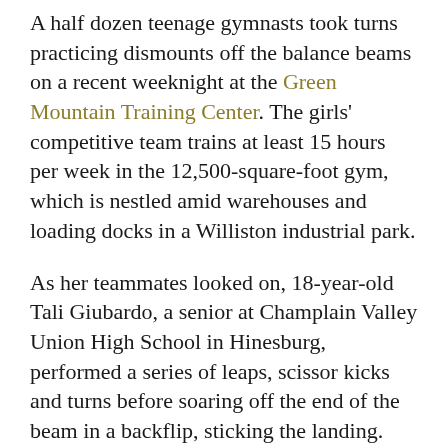A half dozen teenage gymnasts took turns practicing dismounts off the balance beams on a recent weeknight at the Green Mountain Training Center. The girls' competitive team trains at least 15 hours per week in the 12,500-square-foot gym, which is nestled amid warehouses and loading docks in a Williston industrial park.
As her teammates looked on, 18-year-old Tali Giubardo, a senior at Champlain Valley Union High School in Hinesburg, performed a series of leaps, scissor kicks and turns before soaring off the end of the beam in a backflip, sticking the landing.
[Figure (infographic): Advertisement banner: left half dark navy blue background with yellow bold italic text reading 'COVID-19 vaccines now available for everyone 6 months +'; right half shows a young boy with a surprised expression and the number 7 visible.]